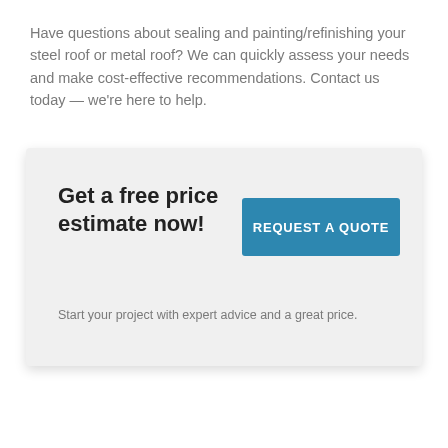Have questions about sealing and painting/refinishing your steel roof or metal roof? We can quickly assess your needs and make cost-effective recommendations. Contact us today — we're here to help.
Get a free price estimate now!
[Figure (other): Blue button with white text reading REQUEST A QUOTE]
Start your project with expert advice and a great price.